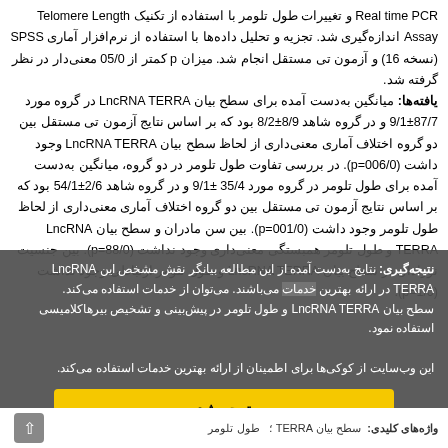Real time PCR و تغییرات طول تلومر با استفاده از تکنیک Telomere Length Assay اندازه‌گیری شد. تجزیه و تحلیل داده‌ها با استفاده از نرم‌افزار آماری SPSS (نسخه 16) و آزمون تی مستقل انجام شد. میزان p کمتر از 05/0 معنی‌دار در نظر گرفته شد. یافته‌ها: میانگین به‌دست آمده برای سطح بیان LncRNA TERRA در گروه مورد 87/7±9/1 و در گروه شاهد 8/9±8/2 بود که بر اساس نتایج آزمون تی مستقل بین دو گروه اختلاف آماری معنی‌داری از لحاظ سطح بیان LncRNA TERRA وجود داشت (p=006/0). در بررسی تفاوت طول تلومر در دو گروه، میانگین به‌دست آمده برای طول تلومر در گروه مورد 35/4 ±9/1 و در گروه شاهد 2/6±54/1 بود که بر اساس نتایج آزمون تی مستقل بین دو گروه اختلاف آماری معنی‌داری از لحاظ طول تلومر وجود داشت (p=001/0). بین سن مادران و سطح بیان LncRNA TERRA و طول تلومر همبستگی معنی‌داری وجود نداشت (p=88/0). بین جنسیت نوزادان در سطح بیان LncRNA TERRA و طول تلومر ارتباطی وجود نداشت (p=1/0).
نتیجه‌گیری: نتایج به‌دست آمده از این مطالعه بیانگر نقش مشخص این LncRNA TERRA در ارائه بهترین خدمات استفاده می‌کند. می‌توان از سطح بیان LncRNA TERRA و طول تلومر در پیش‌بینی و تشخیص بیرهاکلامیسی استفاده نمود.
این وب‌سایت از کوکی‌ها برای اطمینان از ارائه بهترین خدمات استفاده می‌کند.
متوجه شدم
واژه‌های کلیدی: سطح بیان TERRA؛ طول تلومر